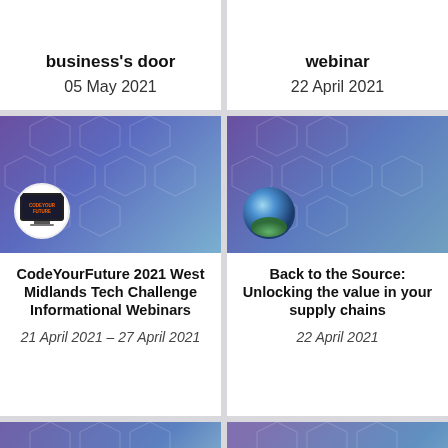business's door
05 May 2021
webinar
22 April 2021
[Figure (illustration): Purple to blue gradient card with CodeYourFuture logo circle in bottom left]
CodeYourFuture 2021 West Midlands Tech Challenge Informational Webinars
21 April 2021 – 27 April 2021
[Figure (illustration): Purple to teal gradient card with 3D sphere icon in bottom left]
Back to the Source: Unlocking the value in your supply chains
22 April 2021
[Figure (illustration): Purple to blue gradient card, partial, bottom of page]
[Figure (illustration): Purple to blue gradient card, partial, bottom of page]